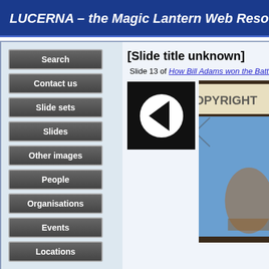LUCERNA – the Magic Lantern Web Resource
Search
Contact us
Slide sets
Slides
Other images
People
Organisations
Events
Locations
[Slide title unknown]
Slide 13 of How Bill Adams won the Battle of Waterloo
[Figure (photo): Navigation back arrow button (black square with left-pointing triangle) and a partially visible lantern slide image with COPYRIGHT text overlay]